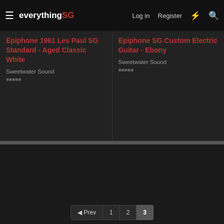everything SG | Log in | Register
Epiphone 1961 Les Paul SG Standard - Aged Classic White
Sweetwater Sound
Epiphone SG Custom Electric Guitar - Ebony
Sweetwater Sound
« Prev  1  2  3